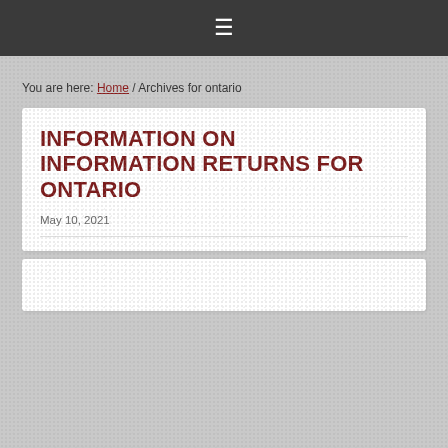☰
You are here: Home / Archives for ontario
INFORMATION ON INFORMATION RETURNS FOR ONTARIO
May 10, 2021